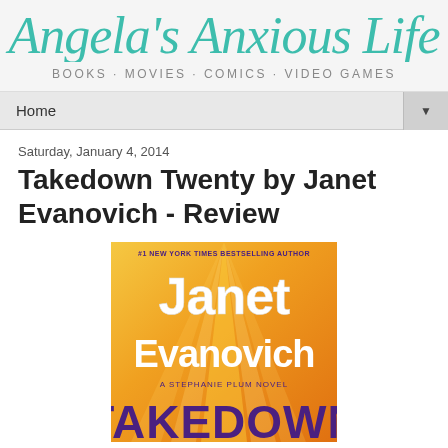Angela's Anxious Life
BOOKS · MOVIES · COMICS · VIDEO GAMES
Home
Saturday, January 4, 2014
Takedown Twenty by Janet Evanovich - Review
[Figure (photo): Book cover of Takedown Twenty by Janet Evanovich. Gold/orange background with large white text reading 'Janet Evanovich', subtitle 'A Stephanie Plum Novel', top text '#1 New York Times Bestselling Author', and bottom text 'TAKEDOWN' partially visible. Published cover art.]